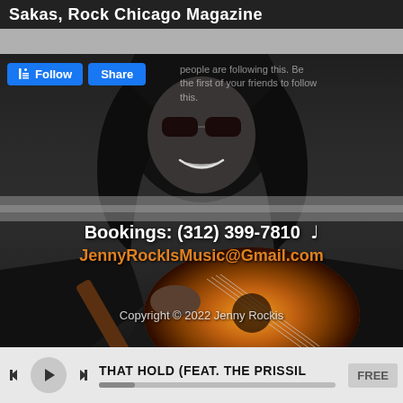Sakas, Rock Chicago Magazine
[Figure (photo): Black and white photo of a woman with long dark hair wearing sunglasses and a leather jacket, holding an acoustic guitar with a sunburst finish. She is smiling. Overlaid with booking contact information.]
Follow  Share  people are following this. Be the first of your friends to follow this.
Bookings: (312) 399-7810 ♩
JennyRockIsMusic@Gmail.com
Copyright © 2022 Jenny Rockis
THAT HOLD (FEAT. THE PRISSIL  FREE